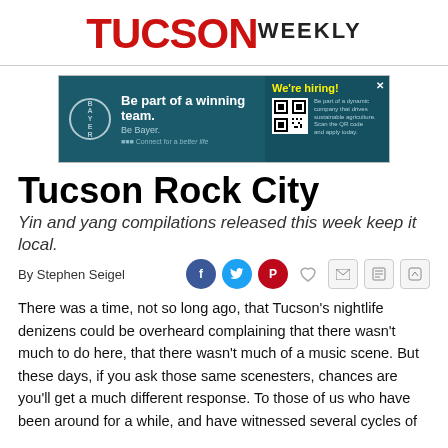TUCSON WEEKLY
[Figure (photo): Bayer advertisement banner: 'Be part of a winning team. Be Bayer.' with Bayer logo on teal background and 'We're hiring!' section with QR code on the right.]
Tucson Rock City
Yin and yang compilations released this week keep it local.
By Stephen Seigel
There was a time, not so long ago, that Tucson's nightlife denizens could be overheard complaining that there wasn't much to do here, that there wasn't much of a music scene. But these days, if you ask those same scenesters, chances are you'll get a much different response. To those of us who have been around for a while, and have witnessed several cycles of